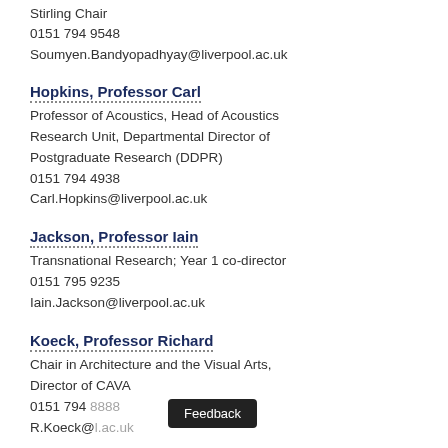Stirling Chair
0151 794 9548
Soumyen.Bandyopadhyay@liverpool.ac.uk
Hopkins, Professor Carl
Professor of Acoustics, Head of Acoustics Research Unit, Departmental Director of Postgraduate Research (DDPR)
0151 794 4938
Carl.Hopkins@liverpool.ac.uk
Jackson, Professor Iain
Transnational Research; Year 1 co-director
0151 795 9235
Iain.Jackson@liverpool.ac.uk
Koeck, Professor Richard
Chair in Architecture and the Visual Arts, Director of CAVA
0151 794 8888
R.Koeck@liverpool.ac.uk